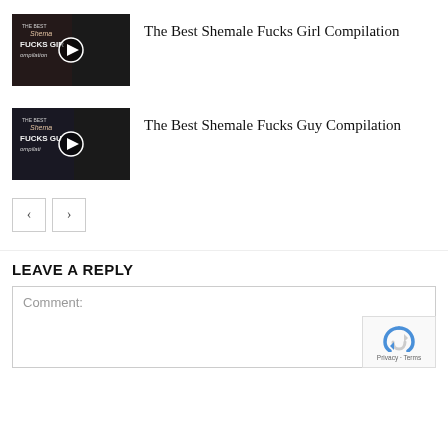[Figure (screenshot): Video thumbnail for 'The Best Shemale Fucks Girl Compilation' with play button overlay]
The Best Shemale Fucks Girl Compilation
[Figure (screenshot): Video thumbnail for 'The Best Shemale Fucks Guy Compilation' with play button overlay]
The Best Shemale Fucks Guy Compilation
< >
LEAVE A REPLY
Comment: